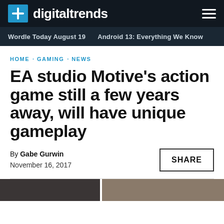digitaltrends
Wordle Today August 19 · Android 13: Everything We Know
HOME · GAMING · NEWS
EA studio Motive's action game still a few years away, will have unique gameplay
By Gabe Gurwin
November 16, 2017
SHARE
[Figure (photo): Bottom image strip showing partial photos]